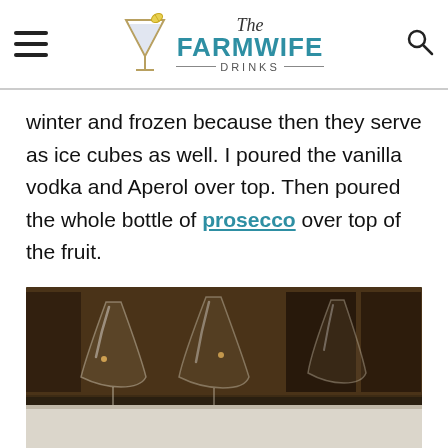The Farmwife Drinks
winter and frozen because then they serve as ice cubes as well. I poured the vanilla vodka and Aperol over top. Then poured the whole bottle of prosecco over top of the fruit.
[Figure (photo): Dark photo of empty wine glasses on a surface, with wooden shelves or furniture in the background. The bottom portion shows a light countertop.]